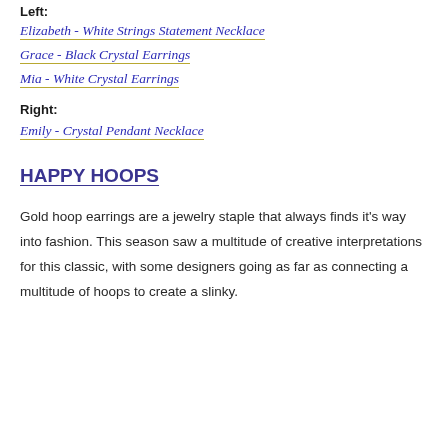Left:
Elizabeth - White Strings Statement Necklace
Grace - Black Crystal Earrings
Mia - White Crystal Earrings
Right:
Emily - Crystal Pendant Necklace
HAPPY HOOPS
Gold hoop earrings are a jewelry staple that always finds it's way into fashion. This season saw a multitude of creative interpretations for this classic, with some designers going as far as connecting a multitude of hoops to create a slinky.